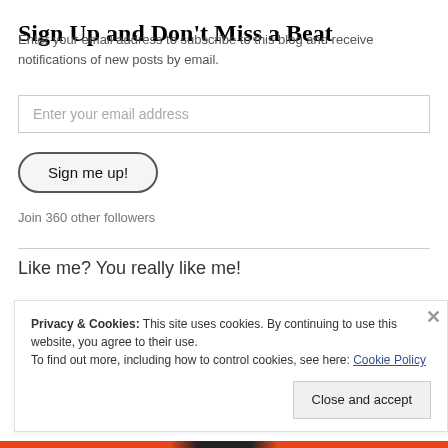Sign Up and Don't Miss a Beat
Enter your email address to subscribe to this blog and receive notifications of new posts by email.
Enter your email address
Sign me up!
Join 360 other followers
Like me? You really like me!
Privacy & Cookies: This site uses cookies. By continuing to use this website, you agree to their use.
To find out more, including how to control cookies, see here: Cookie Policy
Close and accept